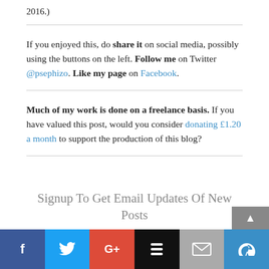2016.)
If you enjoyed this, do share it on social media, possibly using the buttons on the left. Follow me on Twitter @psephizo. Like my page on Facebook.
Much of my work is done on a freelance basis. If you have valued this post, would you consider donating £1.20 a month to support the production of this blog?
Signup To Get Email Updates Of New Posts